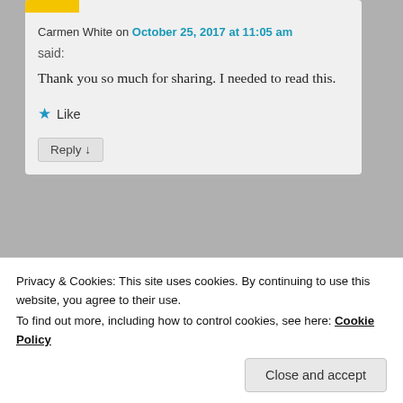Carmen White on October 25, 2017 at 11:05 am
said:
Thank you so much for sharing. I needed to read this.
★ Like
Reply ↓
[Figure (illustration): Green geometric avatar/gravatar icon with quilt-like pattern]
Privacy & Cookies: This site uses cookies. By continuing to use this website, you agree to their use.
To find out more, including how to control cookies, see here: Cookie Policy
Close and accept